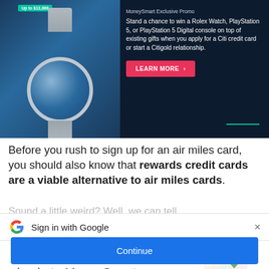[Figure (other): MoneySmart advertisement banner with dark navy background, Rolex watch image, 'Up to $13,888' badge, promotional text about winning prizes, and 'LEARN MORE' button]
Before you rush to sign up for an air miles card, you should also know that rewards credit cards are a viable alternative to air miles cards.
[Figure (screenshot): Google Sign in with Google dialog showing Google logo, close button, title 'Use your Google Account to sign in to MoneySmart', description 'No more passwords to remember. Signing in is fast, simple and secure.', key illustration, and Continue button]